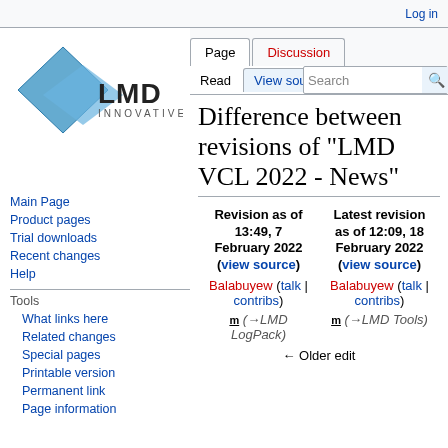Log in
[Figure (logo): LMD Innovative logo — blue diamond shape with LMD INNOVATIVE text]
Main Page
Product pages
Trial downloads
Recent changes
Help
Tools
What links here
Related changes
Special pages
Printable version
Permanent link
Page information
Difference between revisions of "LMD VCL 2022 - News"
| Revision as of 13:49, 7 February 2022 (view source) | Latest revision as of 12:09, 18 February 2022 (view source) |
| --- | --- |
| Balabuyew (talk | contribs) | Balabuyew (talk | contribs) |
| m (→LMD LogPack) | m (→LMD Tools) |
| ← Older edit |  |